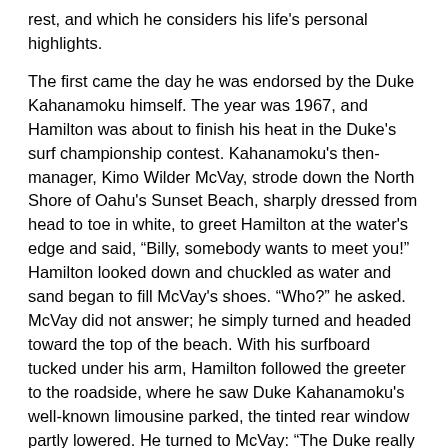rest, and which he considers his life's personal highlights.
The first came the day he was endorsed by the Duke Kahanamoku himself. The year was 1967, and Hamilton was about to finish his heat in the Duke's surf championship contest. Kahanamoku's then-manager, Kimo Wilder McVay, strode down the North Shore of Oahu's Sunset Beach, sharply dressed from head to toe in white, to greet Hamilton at the water's edge and said, “Billy, somebody wants to meet you!” Hamilton looked down and chuckled as water and sand began to fill McVay's shoes. “Who?” he asked. McVay did not answer; he simply turned and headed toward the top of the beach. With his surfboard tucked under his arm, Hamilton followed the greeter to the roadside, where he saw Duke Kahanamoku's well-known limousine parked, the tinted rear window partly lowered. He turned to McVay: “The Duke really wants to meet me?”
Hamilton peeked into the open car window and caught sight of Duke's long legs just as McVay said, “Duke, this is Billy Hamilton!” What came next shocked the young blonde surfer. “I extended my hand to introduce myself,” says Hamilton. “It was swallowed up by a hand so big that it felt like he was wearing a baseball mitt.” As Hamilton peered into Kahanamoku's intensely dark eyes, the unexpected admirer said, “It's very nice to meet you. I appreciate your surfing very much. You surf like an ocean bird. You are my...